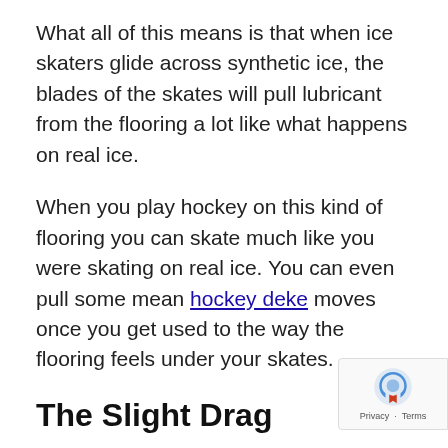What all of this means is that when ice skaters glide across synthetic ice, the blades of the skates will pull lubricant from the flooring a lot like what happens on real ice.
When you play hockey on this kind of flooring you can skate much like you were skating on real ice. You can even pull some mean hockey deke moves once you get used to the way the flooring feels under your skates.
The Slight Drag
Although it is very similar to real ice, scientists have not completely figured out how to exactly replic... ice. As a result of this, there is a slight drag diffe... between when you skate on ice and on artificial ice. It